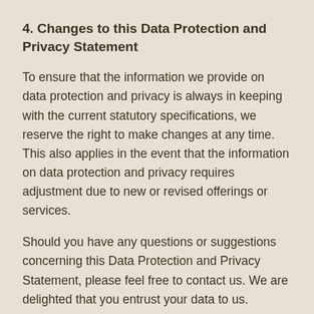4. Changes to this Data Protection and Privacy Statement
To ensure that the information we provide on data protection and privacy is always in keeping with the current statutory specifications, we reserve the right to make changes at any time. This also applies in the event that the information on data protection and privacy requires adjustment due to new or revised offerings or services.
Should you have any questions or suggestions concerning this Data Protection and Privacy Statement, please feel free to contact us. We are delighted that you entrust your data to us.
Last updated: 2020.12.18